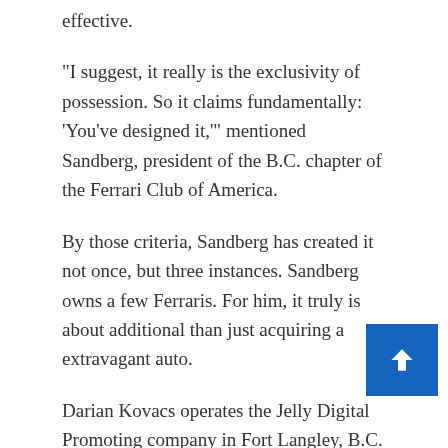effective.
“I suggest, it really is the exclusivity of possession. So it claims fundamentally: ‘You’ve designed it,’” mentioned Sandberg, president of the B.C. chapter of the Ferrari Club of America.
By those criteria, Sandberg has created it not once, but three instances. Sandberg owns a few Ferraris. For him, it truly is about additional than just acquiring a extravagant auto.
Darian Kovacs operates the Jelly Digital Promoting company in Fort Langley, B.C. (Submitted by Darian Kovacs)
“I have a cousin who’s a psychiatrist in Seattle, and I reported to her, you know, 20 to 30 minutes at the rear of